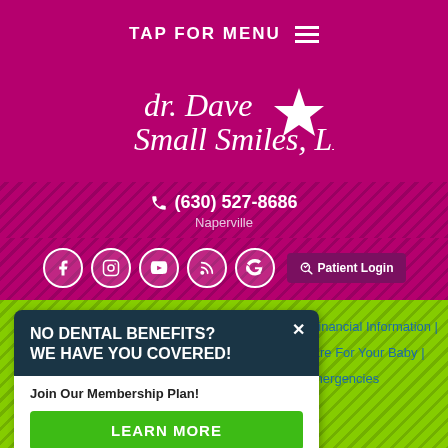TAP FOR MENU
[Figure (logo): Dr. Dave Small Smiles LLC logo in white decorative text with a star icon, on magenta background]
(630) 527-8686
Naperville
[Figure (infographic): Social media icons row (Facebook, Instagram, YouTube, RSS, Google) and Patient Login button]
[Figure (infographic): Popup card: NO DENTAL BENEFITS? WE HAVE YOU COVERED! Join Our Membership Plan! LEARN MORE]
| Financial Information | Care For Your Baby | Emergencies
Pediatric Dental